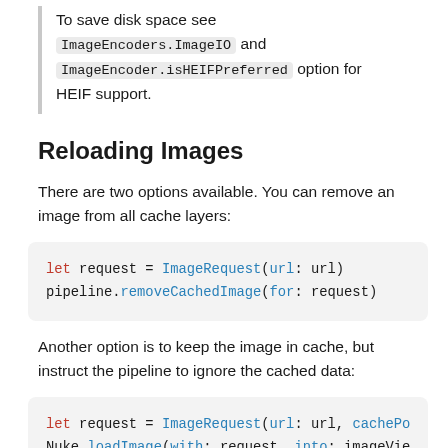To save disk space see ImageEncoders.ImageIO and ImageEncoder.isHEIFPreferred option for HEIF support.
Reloading Images
There are two options available. You can remove an image from all cache layers:
let request = ImageRequest(url: url)
pipeline.removeCachedImage(for: request)
Another option is to keep the image in cache, but instruct the pipeline to ignore the cached cached data:
let request = ImageRequest(url: url, cachePo...
Nuke.loadImage(with: request, into: imageView...